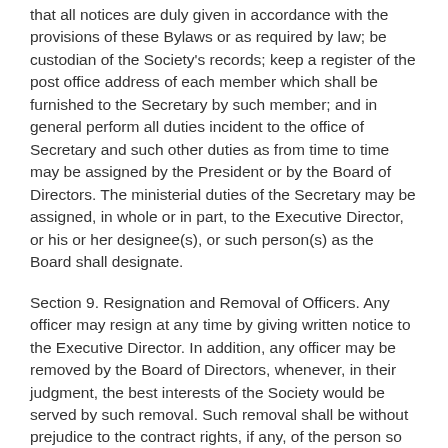that all notices are duly given in accordance with the provisions of these Bylaws or as required by law; be custodian of the Society's records; keep a register of the post office address of each member which shall be furnished to the Secretary by such member; and in general perform all duties incident to the office of Secretary and such other duties as from time to time may be assigned by the President or by the Board of Directors. The ministerial duties of the Secretary may be assigned, in whole or in part, to the Executive Director, or his or her designee(s), or such person(s) as the Board shall designate.
Section 9. Resignation and Removal of Officers. Any officer may resign at any time by giving written notice to the Executive Director. In addition, any officer may be removed by the Board of Directors, whenever, in their judgment, the best interests of the Society would be served by such removal. Such removal shall be without prejudice to the contract rights, if any, of the person so removed. Election of an officer or agent shall not of itself create any contract rights.